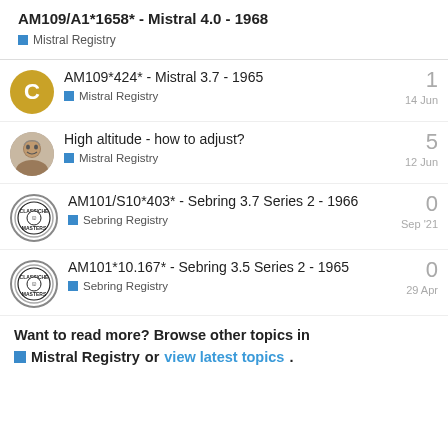AM109/A1*1658* - Mistral 4.0 - 1968
Mistral Registry
AM109*424* - Mistral 3.7 - 1965 | Mistral Registry | 14 Jun | replies: 1
High altitude - how to adjust? | Mistral Registry | 12 Jun | replies: 5
AM101/S10*403* - Sebring 3.7 Series 2 - 1966 | Sebring Registry | Sep '21 | replies: 0
AM101*10.167* - Sebring 3.5 Series 2 - 1965 | Sebring Registry | 29 Apr | replies: 0
Want to read more? Browse other topics in Mistral Registry or view latest topics.